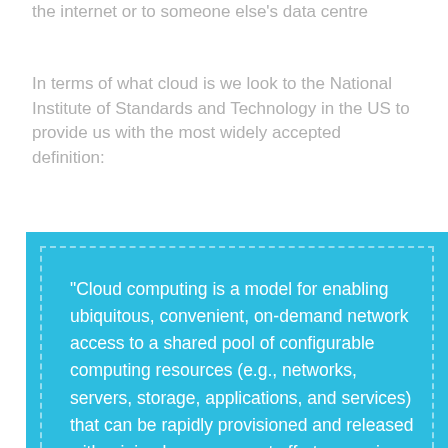the internet or to someone else's data centre
In terms of what cloud is we look to the National Institute of Standards and Technology in the US to provide us with the most widely accepted definition:
“Cloud computing is a model for enabling ubiquitous, convenient, on-demand network access to a shared pool of configurable computing resources (e.g., networks, servers, storage, applications, and services) that can be rapidly provisioned and released with minimal management effort or service provider